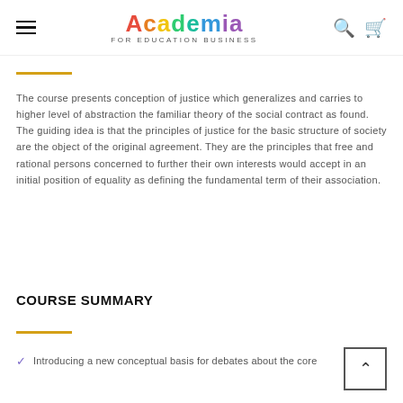Academia FOR EDUCATION BUSINESS
The course presents conception of justice which generalizes and carries to higher level of abstraction the familiar theory of the social contract as found. The guiding idea is that the principles of justice for the basic structure of society are the object of the original agreement. They are the principles that free and rational persons concerned to further their own interests would accept in an initial position of equality as defining the fundamental term of their association.
COURSE SUMMARY
Introducing a new conceptual basis for debates about the core